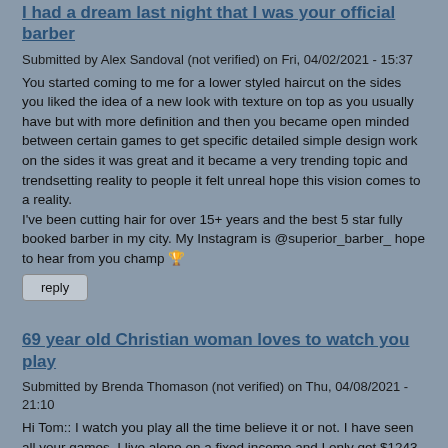I had a dream last night that I was your official barber
Submitted by Alex Sandoval (not verified) on Fri, 04/02/2021 - 15:37
You started coming to me for a lower styled haircut on the sides you liked the idea of a new look with texture on top as you usually have but with more definition and then you became open minded between certain games to get specific detailed simple design work on the sides it was great and it became a very trending topic and trendsetting reality to people it felt unreal hope this vision comes to a reality.
I've been cutting hair for over 15+ years and the best 5 star fully booked barber in my city. My Instagram is @superior_barber_ hope to hear from you champ 🏆
reply
69 year old Christian woman loves to watch you play
Submitted by Brenda Thomason (not verified) on Thu, 04/08/2021 - 21:10
Hi Tom:: I watch you play all the time believe it or not. I have seen all your games. I live alone on a fixed income and I only get $1243 a